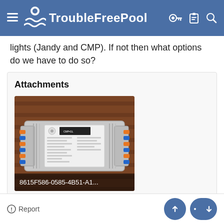TroubleFreePool
lights (Jandy and CMP). If not then what options do we have to do so?
Attachments
[Figure (photo): Photo of an electrical component/ballast device labeled 8615F586-0585-4B51-A1... placed on a wooden surface, showing wiring connections and a label panel]
8615F586-0585-4B51-A1...
Report